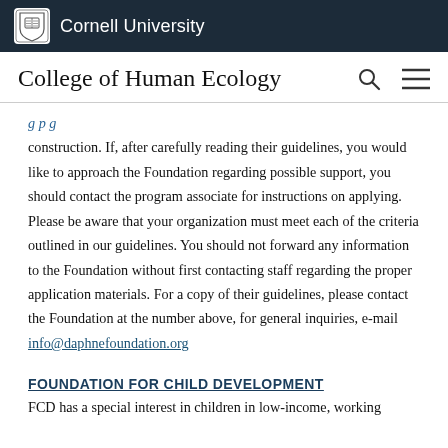Cornell University
College of Human Ecology
construction. If, after carefully reading their guidelines, you would like to approach the Foundation regarding possible support, you should contact the program associate for instructions on applying. Please be aware that your organization must meet each of the criteria outlined in our guidelines. You should not forward any information to the Foundation without first contacting staff regarding the proper application materials. For a copy of their guidelines, please contact the Foundation at the number above, for general inquiries, e-mail info@daphnefoundation.org
FOUNDATION FOR CHILD DEVELOPMENT
FCD has a special interest in children in low-income, working